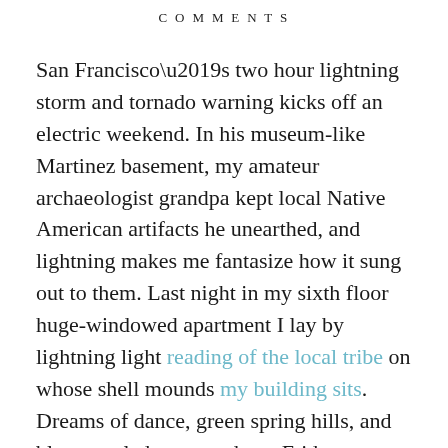COMMENTS
San Francisco’s two hour lightning storm and tornado warning kicks off an electric weekend. In his museum-like Martinez basement, my amateur archaeologist grandpa kept local Native American artifacts he unearthed, and lightning makes me fantasize how it sung out to them. Last night in my sixth floor huge-windowed apartment I lay by lightning light reading of the local tribe on whose shell mounds my building sits. Dreams of dance, green spring hills, and blossoms led me to today – Friday – more thunderstorms, and a fittingly electric weekend. Here’s the line-up and a sneak peek into my new project: come find me!